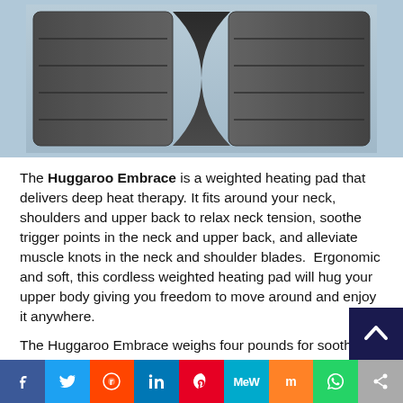[Figure (photo): A gray plush/furry weighted heating pad shaped to wrap around the neck and shoulders, photographed on a light blue background. The pad has horizontal stitched sections and a center fold/opening.]
The Huggaroo Embrace is a weighted heating pad that delivers deep heat therapy. It fits around your neck, shoulders and upper back to relax neck tension, soothe trigger points in the neck and upper back, and alleviate muscle knots in the neck and shoulder blades.  Ergonomic and soft, this cordless weighted heating pad will hug your upper body giving you freedom to move around and enjoy it anywhere.
The Huggaroo Embrace weighs four pounds for soothing deep pressure, anti-gravity design ensures no shifting around and it has a velcro fastener in the front. Choose from unscente...
[Figure (other): Social share bar with buttons: Facebook (blue), Twitter (light blue), Reddit (orange-red), LinkedIn (dark blue), Pinterest (red), MeWe (teal), Mix (orange), WhatsApp (green), Share (gray). Plus a back-to-top button (dark navy with upward chevron).]